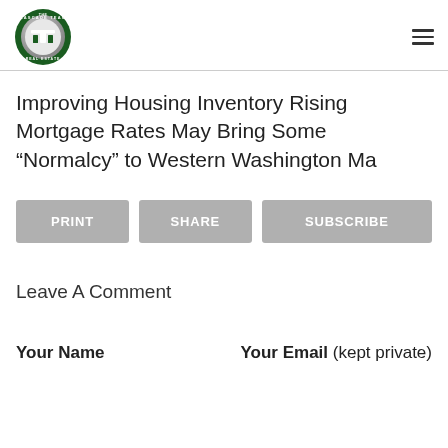The Cascade Team Real Estate
Improving Housing Inventory Rising Mortgage Rates May Bring Some “Normalcy” to Western Washington Ma
PRINT | SHARE | SUBSCRIBE
Leave A Comment
Your Name    Your Email (kept private)